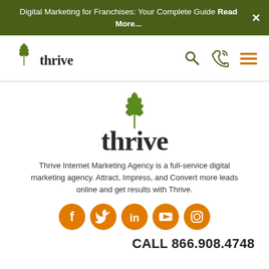Digital Marketing for Franchises: Your Complete Guide Read More...
[Figure (logo): Thrive Internet Marketing Agency logo in navigation bar - tree/leaf icon with 'thrive' wordmark]
[Figure (logo): Thrive Internet Marketing Agency large centered logo - green leaf/tree icon above 'thrive' wordmark]
Thrive Internet Marketing Agency is a full-service digital marketing agency. Attract, Impress, and Convert more leads online and get results with Thrive.
[Figure (infographic): Row of 5 orange circular social media icons: Facebook, Twitter, LinkedIn, YouTube, Instagram]
CALL 866.908.4748